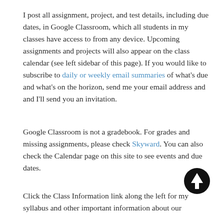I post all assignment, project, and test details, including due dates, in Google Classroom, which all students in my classes have access to from any device. Upcoming assignments and projects will also appear on the class calendar (see left sidebar of this page). If you would like to subscribe to daily or weekly email summaries of what's due and what's on the horizon, send me your email address and and I'll send you an invitation.
Google Classroom is not a gradebook. For grades and missing assignments, please check Skyward. You can also check the Calendar page on this site to see events and due dates.
Click the Class Information link along the left for my syllabus and other important information about our
[Figure (illustration): Black circular button with white upward-pointing arrow icon]